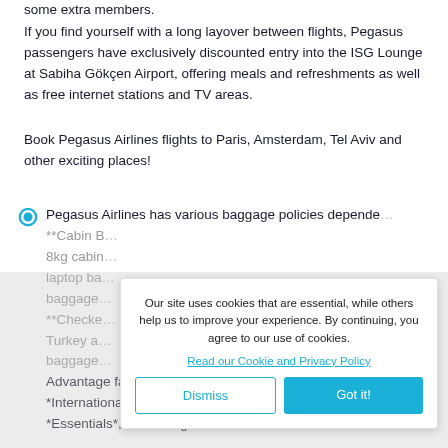some extra members.
If you find yourself with a long layover between flights, Pegasus passengers have exclusively discounted entry into the ISG Lounge at Sabiha Gökçen Airport, offering meals and refreshments as well as free internet stations and TV areas.
Book Pegasus Airlines flights to Paris, Amsterdam, Tel Aviv and other exciting places!
Pegasus Airlines has various baggage policies depende... **Cabin B... 8kg cabin... laptop ba... baggage... **Checked... Turkey a... baggage... Advantage fare – 20kg Business Flex fare – 15kg *International flights:* Passengers flying with *Essentials*, *Advantage* or *Business Flex* tickets
Our site uses cookies that are essential, while others help us to improve your experience. By continuing, you agree to our use of cookies.
Read our Cookie and Privacy Policy
Dismiss
Got it!